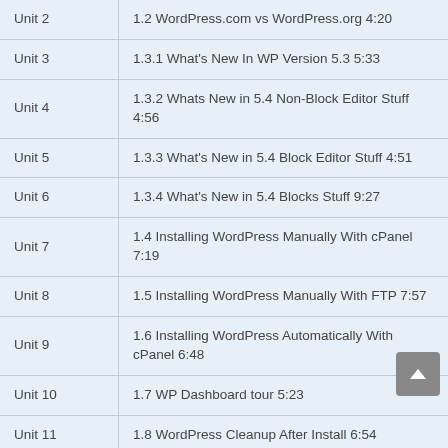| Unit | Lesson |
| --- | --- |
| Unit 2 | 1.2 WordPress.com vs WordPress.org 4:20 |
| Unit 3 | 1.3.1 What's New In WP Version 5.3 5:33 |
| Unit 4 | 1.3.2 Whats New in 5.4 Non-Block Editor Stuff 4:56 |
| Unit 5 | 1.3.3 What's New in 5.4 Block Editor Stuff 4:51 |
| Unit 6 | 1.3.4 What's New in 5.4 Blocks Stuff 9:27 |
| Unit 7 | 1.4 Installing WordPress Manually With cPanel 7:19 |
| Unit 8 | 1.5 Installing WordPress Manually With FTP 7:57 |
| Unit 9 | 1.6 Installing WordPress Automatically With cPanel 6:48 |
| Unit 10 | 1.7 WP Dashboard tour 5:23 |
| Unit 11 | 1.8 WordPress Cleanup After Install 6:54 |
| Unit 12 | 1.9 Revisions and Auto Saves 8:37 |
| Unit 13 | 1.10 Settings General 3:55 |